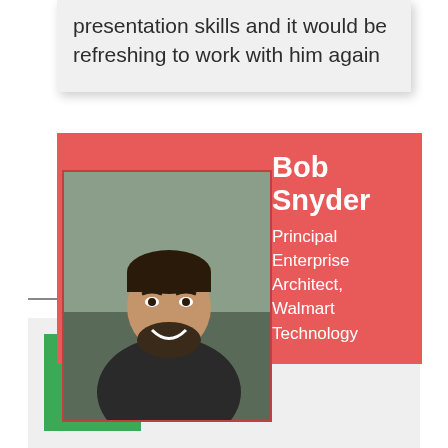presentation skills and it would be refreshing to work with him again
Bob Snyder
Principal Enterprise Architect, Walmart Technology
[Figure (photo): Portrait photo of Bob Snyder, a man with dark hair and beard, smiling, wearing a dark jacket, outdoors background]
You should consider this training if